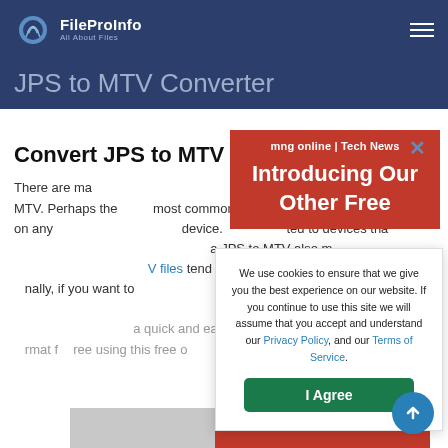FileProInfo – All About Files | JPS to MTV Converter
JPS to MTV Converter
Convert JPS to MTV online free
There are many reasons why you might need to convert a JPS file to MTV. Perhaps the most common reason is that MTV can be read on any device, whereas JPS is limited to devices that support it. Additionally, converting a JPS to MTV also means that your files will be smaller. MTV files tend to be much smaller than JPS files. Finally, if you want to share your files with others, it can be much easier to do so in MTV format rather than JPS format. Finally, our JPS to MTV Converter allows for a quick and easy process of converting JPS to MTV format free using this free online tool.
[Figure (screenshot): Red notification banner with text 'mng online | Tech News' and 'Introducing Our Other Free']
[Figure (screenshot): Cookie consent modal with text 'We use cookies to ensure that we give you the best experience on our website. If you continue to use this site we will assume that you accept and understand our Privacy Policy, and our Terms of Service.' with I Agree button]